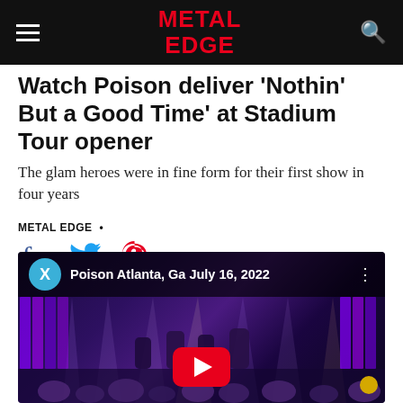METAL EDGE
Watch Poison deliver 'Nothin' But a Good Time' at Stadium Tour opener
The glam heroes were in fine form for their first show in four years
METAL EDGE •
[Figure (screenshot): YouTube video thumbnail showing Poison performing live in Atlanta, GA on July 16, 2022. The video overlay shows a channel icon with 'X', the video title 'Poison Atlanta, Ga July 16, 2022', a three-dot menu, and a YouTube play button in the center. The background shows the band on stage with purple lighting and LED screens.]